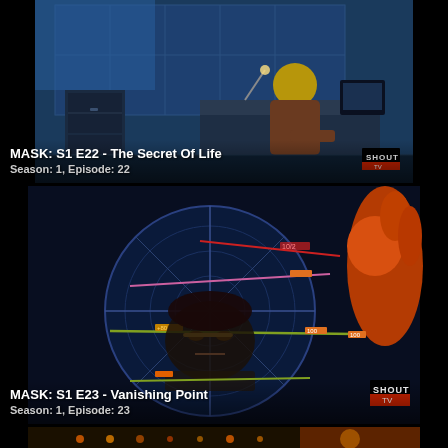[Figure (screenshot): Animated screenshot from MASK TV show: blue-tinted office/lab scene with a character seated at a desk, filing cabinets and large window in background. Shout TV logo in bottom right.]
MASK: S1 E22 - The Secret Of Life
Season: 1, Episode: 22
[Figure (screenshot): Animated screenshot from MASK TV show: circular radar/scope display with crosshairs and colored lines, character reflected/visible in scope. Red-haired character on right side. Shout TV logo in bottom right.]
MASK: S1 E23 - Vanishing Point
Season: 1, Episode: 23
[Figure (screenshot): Partial animated screenshot from MASK TV show: bottom portion visible showing warm/orange tones, partially cropped.]